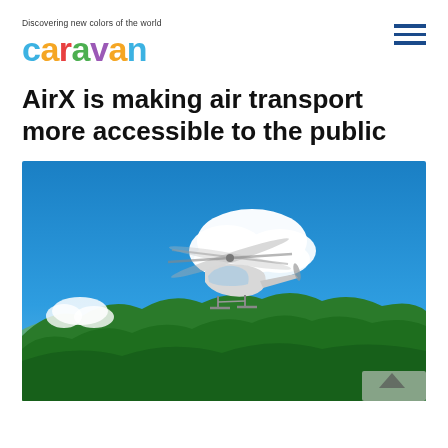Discovering new colors of the world
caravan
AirX is making air transport more accessible to the public
[Figure (photo): A white helicopter flying through a vivid blue sky with white clouds, over lush green forested hills. A small watermark or logo is partially visible in the bottom-right corner.]